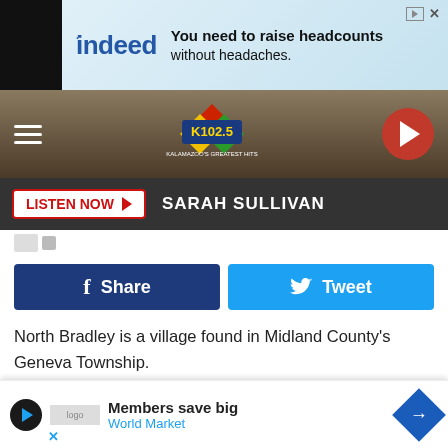[Figure (screenshot): Indeed advertisement banner: 'You need to raise headcounts without headaches.']
[Figure (logo): K102.5 Kalamazoo's Greatest Hits radio station header with hamburger menu and play button]
LISTEN NOW ▶  SARAH SULLIVAN
[Figure (other): Share on Facebook and Tweet buttons]
North Bradley is a village found in Midland County's Geneva Township.
Some sources call this a 'ghost town' but I don't believe it is…I do feel that it's a 'shadow town', meaning it's a shadow of its former self.
One of North Bradley's first settlers was William R. Button, who se... thanks to his ow...
[Figure (screenshot): Members save big - World Market advertisement overlay at bottom]